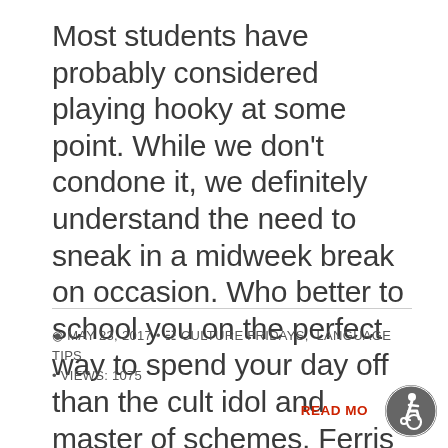Most students have probably considered playing hooky at some point. While we don't condone it, we definitely understand the need to sneak in a midweek break on occasion. Who better to school you on the perfect way to spend your day off than the cult idol and master of schemes, Ferris Bueller?
MAY 23, 2017 · CULTURE FRIDAYS, LANGUAGE TIPS · VIEWS: 1075
READ MORE